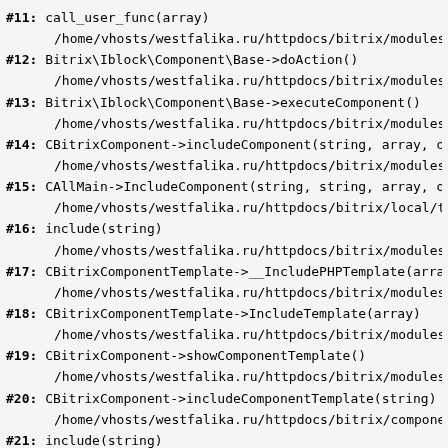#11: call_user_func(array)
        /home/vhosts/westfalika.ru/httpdocs/bitrix/modules/ib
#12: Bitrix\Iblock\Component\Base->doAction()
        /home/vhosts/westfalika.ru/httpdocs/bitrix/modules/ib
#13: Bitrix\Iblock\Component\Base->executeComponent()
        /home/vhosts/westfalika.ru/httpdocs/bitrix/modules/ma
#14: CBitrixComponent->includeComponent(string, array, object
        /home/vhosts/westfalika.ru/httpdocs/bitrix/modules/ma
#15: CAllMain->IncludeComponent(string, string, array, object
        /home/vhosts/westfalika.ru/httpdocs/bitrix/local/templates/w
#16: include(string)
        /home/vhosts/westfalika.ru/httpdocs/bitrix/modules/ma
#17: CBitrixComponentTemplate->__IncludePHPTemplate(array, ar
        /home/vhosts/westfalika.ru/httpdocs/bitrix/modules/ma
#18: CBitrixComponentTemplate->IncludeTemplate(array)
        /home/vhosts/westfalika.ru/httpdocs/bitrix/modules/ma
#19: CBitrixComponent->showComponentTemplate()
        /home/vhosts/westfalika.ru/httpdocs/bitrix/modules/ma
#20: CBitrixComponent->includeComponentTemplate(string)
        /home/vhosts/westfalika.ru/httpdocs/bitrix/components
#21: include(string)
        /home/vhosts/westfalika.ru/httpdocs/bitrix/modules/ma
#22: CBitrixComponent->__includeComponent()
        /home/vhosts/westfalika.ru/httpdocs/bitrix/modules/ma
#23: CBitrixComponent->includeComponent() ...